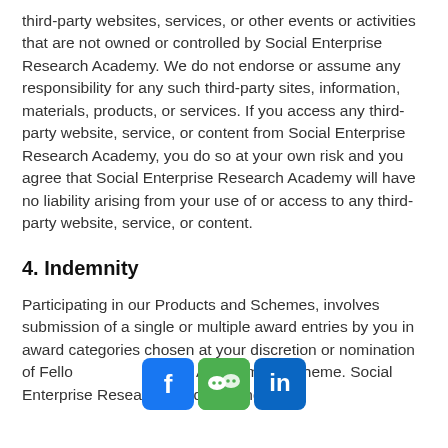third-party websites, services, or other events or activities that are not owned or controlled by Social Enterprise Research Academy. We do not endorse or assume any responsibility for any such third-party sites, information, materials, products, or services. If you access any third-party website, service, or content from Social Enterprise Research Academy, you do so at your own risk and you agree that Social Enterprise Research Academy will have no liability arising from your use of or access to any third-party website, service, or content.
4. Indemnity
Participating in our Products and Schemes, involves submission of a single or multiple award entries by you in award categories chosen at your discretion or nomination of Fellows participation Assessment Scheme. Social Enterprise Research Academy and
[Figure (infographic): Social media icons: Facebook (blue), WeChat (green), LinkedIn (blue) shown as rounded square icons overlaid on the text]